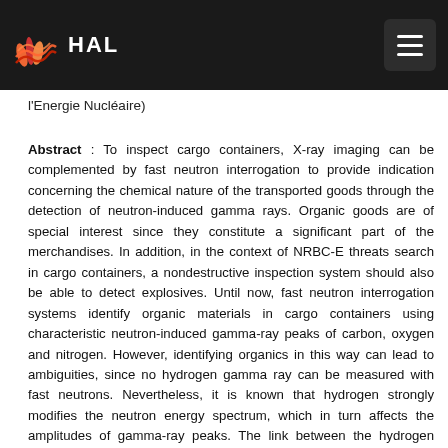HAL
l'Energie Nucléaire)
Abstract : To inspect cargo containers, X-ray imaging can be complemented by fast neutron interrogation to provide indication concerning the chemical nature of the transported goods through the detection of neutron-induced gamma rays. Organic goods are of special interest since they constitute a significant part of the merchandises. In addition, in the context of NRBC-E threats search in cargo containers, a nondestructive inspection system should also be able to detect explosives. Until now, fast neutron interrogation systems identify organic materials in cargo containers using characteristic neutron-induced gamma-ray peaks of carbon, oxygen and nitrogen. However, identifying organics in this way can lead to ambiguities, since no hydrogen gamma ray can be measured with fast neutrons. Nevertheless, it is known that hydrogen strongly modifies the neutron energy spectrum, which in turn affects the amplitudes of gamma-ray peaks. The link between the hydrogen fraction and the amplitude of gamma ray peaks being complex, no attempt has been made to inverse this link until now. Simulations show, however, that a neural network that takes as inputs the heights of carbon, oxygen and nitrogen gamma ray peaks can indeed determine the hydrogen fraction. Simulations of realistic cases show that the use of a neural network indeed allows identifying compounds having similar fractions of carbon, oxygen